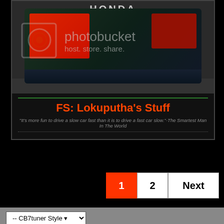[Figure (photo): Rear view of a Honda car with red tail lights, photobucket watermark overlay, dark background]
FS: Lokuputha's Stuff
"It's more fun to drive a slow car fast than it is to drive a fast car slow."-The Smartest Man In The World
1  2  Next
-- CB7tuner Style
Go to...